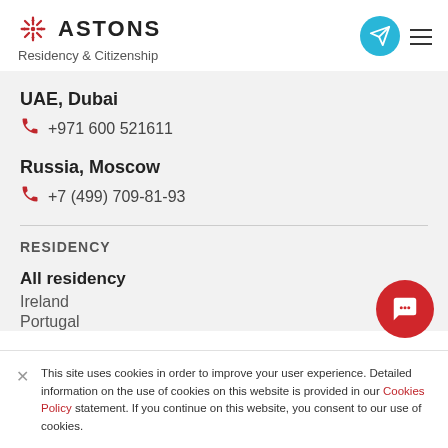ASTONS Residency & Citizenship
UAE, Dubai
+971 600 521611
Russia, Moscow
+7 (499) 709-81-93
RESIDENCY
All residency
Ireland
Portugal
This site uses cookies in order to improve your user experience. Detailed information on the use of cookies on this website is provided in our Cookies Policy statement. If you continue on this website, you consent to our use of cookies.